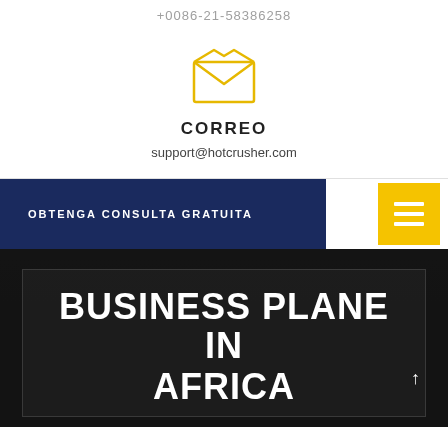+0086-21-58386258
[Figure (illustration): Open envelope/mail icon drawn in yellow/gold outline style]
CORREO
support@hotcrusher.com
OBTENGA CONSULTA GRATUITA
BUSINESS PLANE IN AFRICA